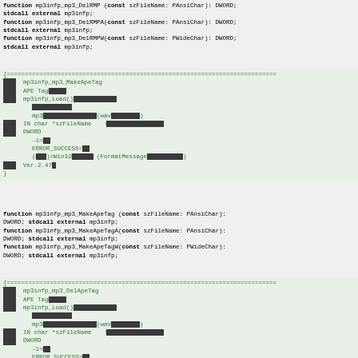function mp3infp_mp3_DelRMP (const szFileName: PAnsiChar): DWORD;
stdcall external mp3infp;
function mp3infp_mp3_DelRMPA(const szFileName: PAnsiChar): DWORD;
stdcall external mp3infp;
function mp3infp_mp3_DelRMPW(const szFileName: PWideChar): DWORD;
stdcall external mp3infp;
{=====...}
関数  mp3infp_mp3_MakeApeTag
機能  APE Tag操作
引数  mp3infp_Load()で読み込んだファイル名
      ファイルの絶対パス
      mp3以外のファイル名も指定可能(wavも対応可能)
引数  IN char *szFileName  ファイル名(絶対パス)
戻値  DWORD
      -1=エラー
      ERROR_SUCCESS=成功
      (その他)=Win32エラーコード (FormatMessageで文字列化可)
更新  Ver.2.47以降
}
function mp3infp_mp3_MakeApeTag (const szFileName: PAnsiChar):
DWORD; stdcall external mp3infp;
function mp3infp_mp3_MakeApeTagA(const szFileName: PAnsiChar):
DWORD; stdcall external mp3infp;
function mp3infp_mp3_MakeApeTagW(const szFileName: PWideChar):
DWORD; stdcall external mp3infp;
{=====...}
関数  mp3infp_mp3_DelApeTag
機能  APE Tag操作
引数  mp3infp_Load()で読み込んだファイル名
      ファイルの絶対パス
      mp3以外のファイル名も指定可能(wavも対応可能)
引数  IN char *szFileName  ファイル名(絶対パス)
戻値  DWORD
      -1=エラー
      ERROR_SUCCESS=成功
      (その他)=Win32エラーコード (FormatMessageで文字列化可)
更新  Ver.2.47以降
}